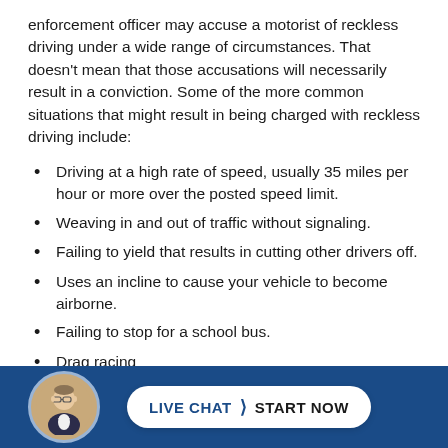enforcement officer may accuse a motorist of reckless driving under a wide range of circumstances. That doesn't mean that those accusations will necessarily result in a conviction. Some of the more common situations that might result in being charged with reckless driving include:
Driving at a high rate of speed, usually 35 miles per hour or more over the posted speed limit.
Weaving in and out of traffic without signaling.
Failing to yield that results in cutting other drivers off.
Uses an incline to cause your vehicle to become airborne.
Failing to stop for a school bus.
Drag racing
Failing to yield to pedestrians at a crosswalk.
[Figure (other): Blue footer bar with circular avatar photo of a man in glasses and suit, and a white rounded button reading LIVE CHAT > START NOW]